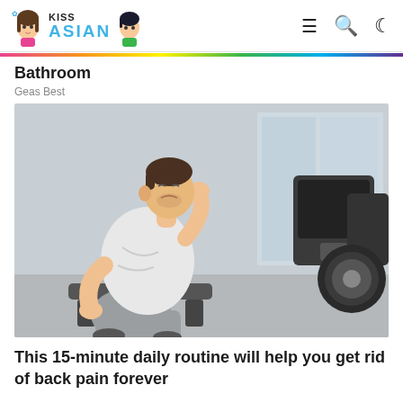KISS ASIAN
Bathroom
Geas Best
[Figure (photo): A man in a white sleeveless shirt and grey sweatpants sits in a gym, leaning forward and holding his lower back and neck in pain. Treadmills and gym equipment are visible in the background.]
This 15-minute daily routine will help you get rid of back pain forever